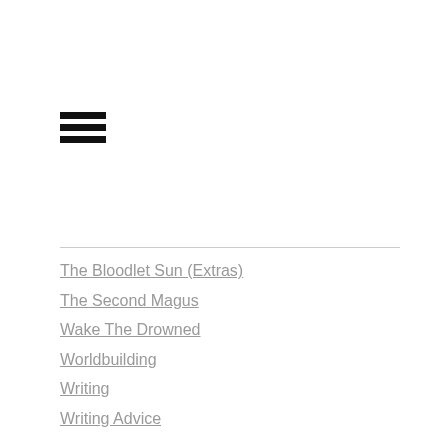[Figure (other): Hamburger menu icon with three horizontal black bars]
The Bloodlet Sun (Extras)
The Second Magus
Wake The Drowned
Worldbuilding
Writing
Writing Advice
Archives
March 2022
February 2022
January 2022
December 2021
November 2021
October 2021
September 2021
August 2021
July 2021